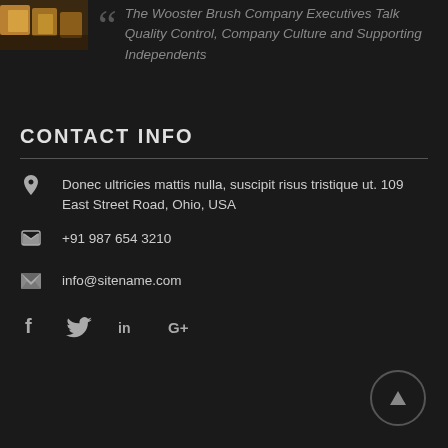[Figure (photo): Small thumbnail image showing boxes/products in warm brown tones]
The Wooster Brush Company Executives Talk Quality Control, Company Culture and Supporting Independents
CONTACT INFO
Donec ultricies mattis nulla, suscipit risus tristique ut. 109 East Street Road, Ohio, USA
+91 987 654 3210
info@sitename.com
[Figure (infographic): Social media icons: Facebook, Twitter, LinkedIn, Google+]